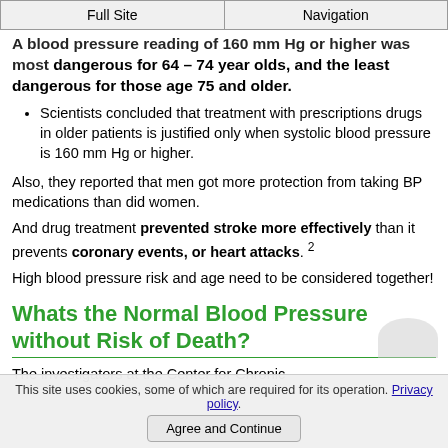Full Site | Navigation
A blood pressure reading of 160 mm Hg or higher was most dangerous for 64 – 74 year olds, and the least dangerous for those age 75 and older.
Scientists concluded that treatment with prescriptions drugs in older patients is justified only when systolic blood pressure is 160 mm Hg or higher.
Also, they reported that men got more protection from taking BP medications than did women.
And drug treatment prevented stroke more effectively than it prevents coronary events, or heart attacks. 2
High blood pressure risk and age need to be considered together!
Whats the Normal Blood Pressure without Risk of Death?
The investigators at the Center for Chronic
This site uses cookies, some of which are required for its operation. Privacy policy.
Agree and Continue